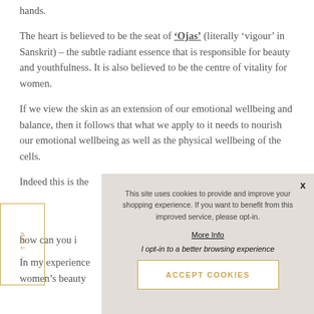hands.
The heart is believed to be the seat of 'Ojas' (literally 'vigour' in Sanskrit) – the subtle radiant essence that is responsible for beauty and youthfulness. It is also believed to be the centre of vitality for women.
If we view the skin as an extension of our emotional wellbeing and balance, then it follows that what we apply to it needs to nourish our emotional wellbeing as well as the physical wellbeing of the cells.
Indeed this is the
how can you
In my experience women's beauty
[Figure (other): Cookie consent popup overlay with 'x' close button, cookie notice text, 'More Info' link, 'I opt-in to a better browsing experience' text, and 'ACCEPT COOKIES' button with gold border.]
[Figure (other): Vertical side label with gold border and upward arrow, reading 'TOP' rotated vertically.]